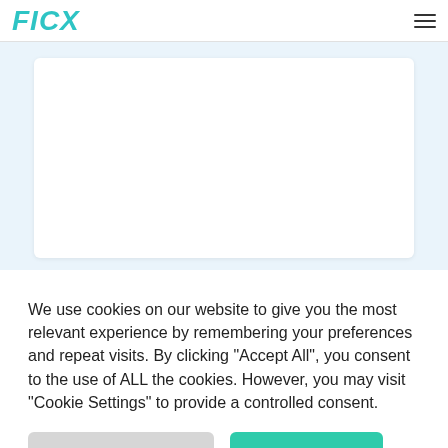FICX
[Figure (other): White card on light blue background, representing a webpage content area]
We use cookies on our website to give you the most relevant experience by remembering your preferences and repeat visits. By clicking "Accept All", you consent to the use of ALL the cookies. However, you may visit "Cookie Settings" to provide a controlled consent.
COOKIE SETTINGS   ACCEPT ALL